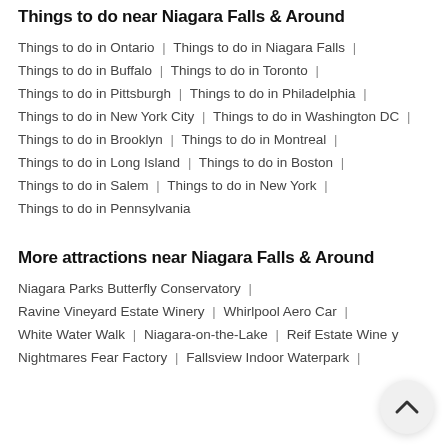Things to do near Niagara Falls & Around
Things to do in Ontario | Things to do in Niagara Falls |
Things to do in Buffalo | Things to do in Toronto |
Things to do in Pittsburgh | Things to do in Philadelphia |
Things to do in New York City | Things to do in Washington DC |
Things to do in Brooklyn | Things to do in Montreal |
Things to do in Long Island | Things to do in Boston |
Things to do in Salem | Things to do in New York |
Things to do in Pennsylvania
More attractions near Niagara Falls & Around
Niagara Parks Butterfly Conservatory |
Ravine Vineyard Estate Winery | Whirlpool Aero Car |
White Water Walk | Niagara-on-the-Lake | Reif Estate Winery
Nightmares Fear Factory | Fallsview Indoor Waterpark |